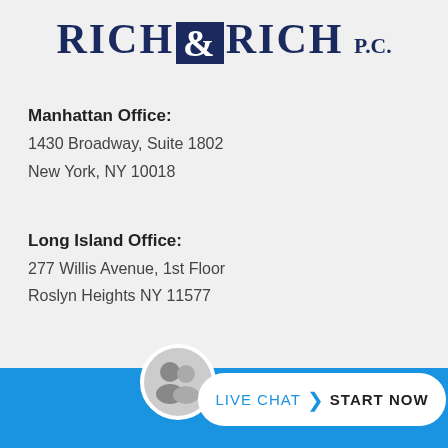RICH & RICH P.C.
Manhattan Office:
1430 Broadway, Suite 1802
New York, NY 10018
Long Island Office:
277 Willis Avenue, 1st Floor
Roslyn Heights NY 11577
:
,
,
[Figure (other): Live chat button with attorney photo avatars and 'LIVE CHAT > START NOW' call to action on blue background bar]